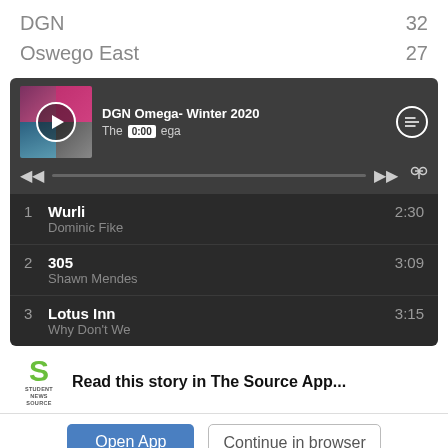DGN   32
Oswego East   27
[Figure (screenshot): Spotify playlist player widget showing 'DGN Omega- Winter 2020' by The Omega with album art, play button, progress bar at 0:00, and tracklist with 3 songs: 1. Wurli - Dominic Fike 2:30, 2. 305 - Shawn Mendes 3:09, 3. Lotus Inn - Why Don't We 3:15]
Read this story in The Source App...
Open App   Continue in browser